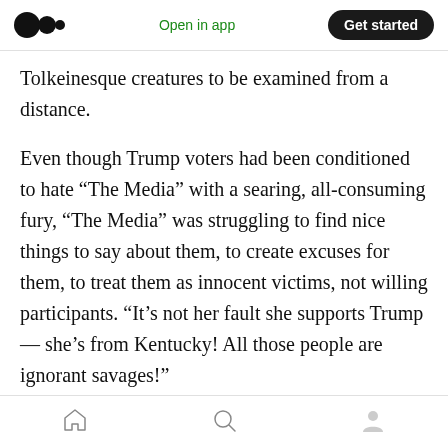Medium logo | Open in app | Get started
Tolkeinesque creatures to be examined from a distance.
Even though Trump voters had been conditioned to hate “The Media” with a searing, all-consuming fury, “The Media” was struggling to find nice things to say about them, to create excuses for them, to treat them as innocent victims, not willing participants. “It’s not her fault she supports Trump — she’s from Kentucky! All those people are ignorant savages!”
And the reason for this couldn’t be simpler:
Home | Search | Profile